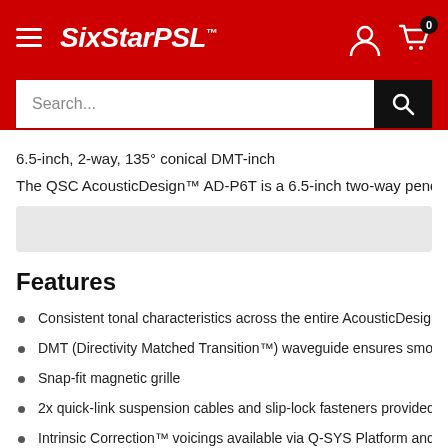SixStarPSL
6.5-inch, 2-way, 135° conical DMT-inch
The QSC AcousticDesign™ AD-P6T is a 6.5-inch two-way pendant-mou
Features
Consistent tonal characteristics across the entire AcousticDesign fam
DMT (Directivity Matched Transition™) waveguide ensures smooth,
Snap-fit magnetic grille
2x quick-link suspension cables and slip-lock fasteners provided
Intrinsic Correction™ voicings available via Q-SYS Platform and CXD